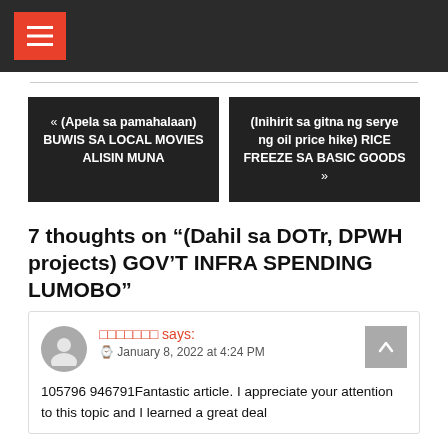Navigation header with menu icon
« (Apela sa pamahalaan) BUWIS SA LOCAL MOVIES ALISIN MUNA
(Inihirit sa gitna ng serye ng oil price hike) RICE FREEZE SA BASIC GOODS »
7 thoughts on “(Dahil sa DOTr, DPWH projects) GOV’T INFRA SPENDING LUMOBO”
□□□□□□□ says:
January 8, 2022 at 4:24 PM
105796 946791Fantastic article. I appreciate your attention to this topic and I learned a great deal